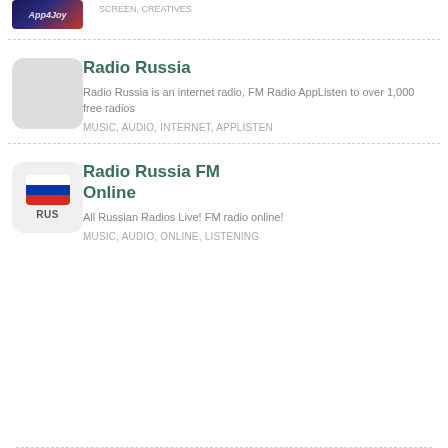[Figure (logo): App4Joy logo — dark blue and red gradient background with italic white text]
SCREEN, CREATIVES
[Figure (illustration): Gray placeholder square for Radio Russia app icon]
Radio Russia
Radio Russia is an internet radio, FM Radio AppListen to over 1,000 free radios
MUSIC, AUDIO, INTERNET, APPLISTEN
[Figure (logo): Radio Russia FM Online app icon — Russian flag tricolor with RUS text below on light gray rounded square]
Radio Russia FM Online
All Russian Radios Live! FM radio online!
MUSIC, AUDIO, ONLINE, LISTENING